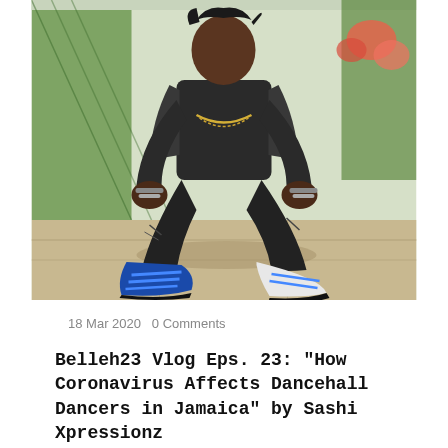[Figure (photo): A man crouching outdoors, wearing ripped dark jeans, a grey jacket, silver chain necklace, and blue and white sneakers, in front of a green metal fence with flowers visible in the background.]
18 Mar 2020   0 Comments
Belleh23 Vlog Eps. 23: "How Coronavirus Affects Dancehall Dancers in Jamaica" by Sashi Xpressionz